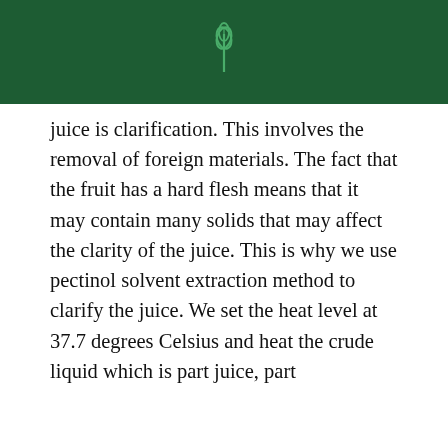juice is clarification. This involves the removal of foreign materials. The fact that the fruit has a hard flesh means that it may contain many solids that may affect the clarity of the juice. This is why we use pectinol solvent extraction method to clarify the juice. We set the heat level at 37.7 degrees Celsius and heat the crude liquid which is part juice, part
We use cookies on our website to give you the most relevant experience by remembering your preferences and repeat visits. By clicking “Accept”, you consent to the use of ALL the cookies.
[Figure (other): Advertisement banner for Karter School: Specialized Immersive Programs. Logo, text, and Contact Us button.]